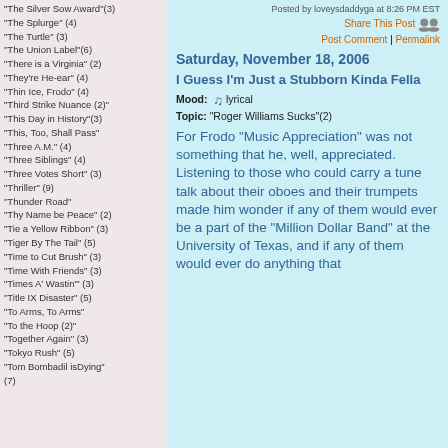"The Silver Sow Award"(3)
"The Splurge" (4)
"The Turtle" (3)
"The Union Label"(6)
"There is a Virginia" (2)
"They're He-ear" (4)
"Thin Ice, Frodo" (4)
"Third Strike Nuance (2)"
"This Day in History"(3)
"This, Too, Shall Pass"
"Three A.M." (4)
"Three Siblings" (4)
"Three Votes Short" (3)
"Thriller" (9)
"Thunder Road"
"Thy Name be Peace" (2)
"Tie a Yellow Ribbon" (3)
"Tiger By The Tail" (5)
"Time to Cut Brush" (3)
"Time With Friends" (3)
"Times A' Wastin'" (3)
"Title IX Disaster" (5)
"To Arms, To Arms"
"To the Hoop (2)"
"Together Again" (3)
"Tokyo Rush" (5)
"Tom Bombadil isDying" (7)
Posted by loveysdaddyga at 8:26 PM EST
Share This Post
Post Comment | Permalink
Saturday, November 18, 2006
I Guess I'm Just a Stubborn Kinda Fella
Mood: lyrical
Topic: "Roger Williams Sucks"(2)
For Frodo "Music Appreciation" was not something that he, well, appreciated. Listening to those who could carry a tune talk about their oboes and their trumpets made him wonder if any of them would ever be a part of the "Million Dollar Band" at the University of Texas, and if any of them would ever do anything that